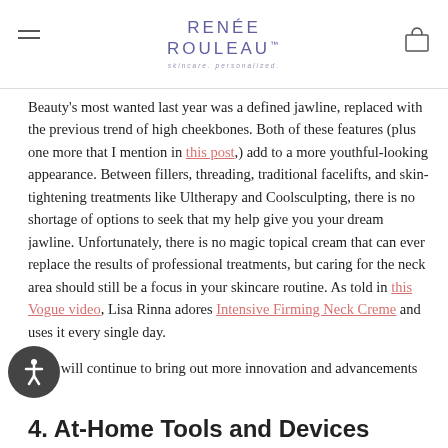RENÉE ROULEAU™ skincare. personalized.
Beauty's most wanted last year was a defined jawline, replaced with the previous trend of high cheekbones. Both of these features (plus one more that I mention in this post,) add to a more youthful-looking appearance. Between fillers, threading, traditional facelifts, and skin-tightening treatments like Ultherapy and Coolsculpting, there is no shortage of options to seek that my help give you your dream jawline. Unfortunately, there is no magic topical cream that can ever replace the results of professional treatments, but caring for the neck area should still be a focus in your skincare routine. As told in this Vogue video, Lisa Rinna adores Intensive Firming Neck Creme and uses it every single day.
2021 will continue to bring out more innovation and advancements for tightening the neck but it will be with professional procedures.
4. At-Home Tools and Devices